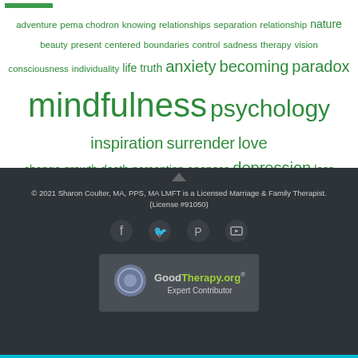[Figure (infographic): Tag cloud / word cloud of therapy and mindfulness related topics in green on white background with a green progress bar at top left. Words include: adventure, pema chodron, knowing, relationships, separation, relationship, nature, beauty, present, centered, boundaries, control, sadness, therapy, vision, consciousness, individuality, life, truth, anxiety, becoming, paradox, mindfulness, psychology, inspiration, surrender, love, change, growth, death, perception, oneness, depression, loss, psychotherapy, compassion, courage, introspection, grief, divorce, alone, counseling, meditation, ralph waldo emerson, lao tzu]
© 2021 Sharon Coulter, MA, PPS, MA LMFT is a Licensed Marriage & Family Therapist. (License #91050)
[Figure (infographic): Social media icons: Facebook, Twitter, Pinterest, YouTube in grey on dark background]
[Figure (logo): GoodTherapy.org Expert Contributor badge with circular logo and text on dark grey background]